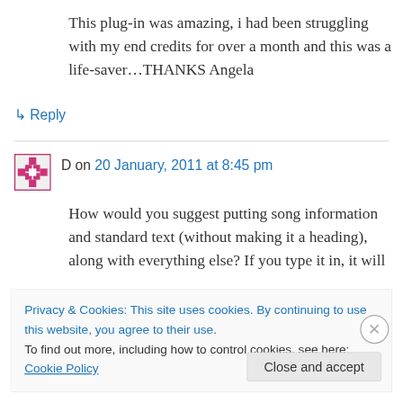This plug-in was amazing, i had been struggling with my end credits for over a month and this was a life-saver…THANKS Angela
↳ Reply
D on 20 January, 2011 at 8:45 pm
How would you suggest putting song information and standard text (without making it a heading), along with everything else? If you type it in, it will
Privacy & Cookies: This site uses cookies. By continuing to use this website, you agree to their use.
To find out more, including how to control cookies, see here: Cookie Policy
Close and accept